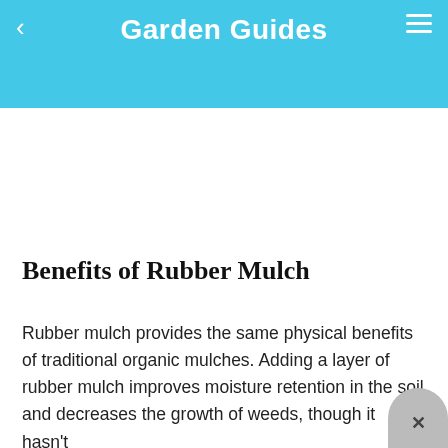Garden Guides
[Figure (illustration): Garden Guides website header with sky blue background, grass, flowers, and a white rabbit illustration]
Benefits of Rubber Mulch
Rubber mulch provides the same physical benefits of traditional organic mulches. Adding a layer of rubber mulch improves moisture retention in the soil and decreases the growth of weeds, though it hasn't